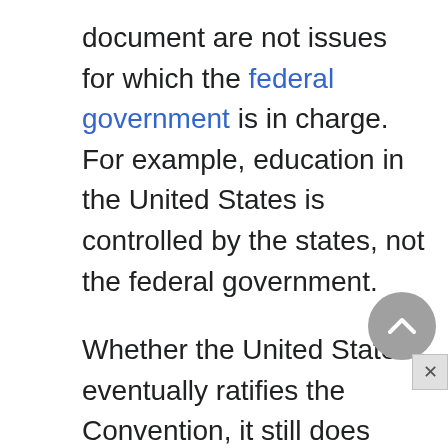document are not issues for which the federal government is in charge. For example, education in the United States is controlled by the states, not the federal government.

Whether the United States eventually ratifies the Convention, it still does maintain an enviable record of honoring most children's rights. Human rights groups are convinced that the United States can and should do more, and they continue to make